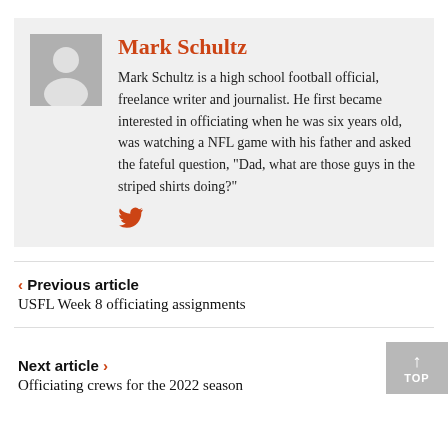[Figure (illustration): Gray avatar placeholder showing a person silhouette icon]
Mark Schultz
Mark Schultz is a high school football official, freelance writer and journalist. He first became interested in officiating when he was six years old, was watching a NFL game with his father and asked the fateful question, "Dad, what are those guys in the striped shirts doing?"
[Figure (logo): Twitter bird icon in orange/red color]
< Previous article
USFL Week 8 officiating assignments
Next article >
Officiating crews for the 2022 season